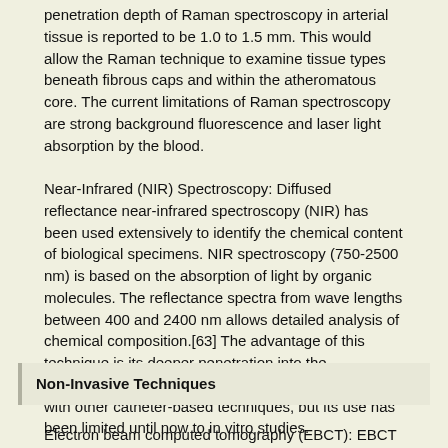penetration depth of Raman spectroscopy in arterial tissue is reported to be 1.0 to 1.5 mm. This would allow the Raman technique to examine tissue types beneath fibrous caps and within the atheromatous core. The current limitations of Raman spectroscopy are strong background fluorescence and laser light absorption by the blood.
Near-Infrared (NIR) Spectroscopy: Diffused reflectance near-infrared spectroscopy (NIR) has been used extensively to identify the chemical content of biological specimens. NIR spectroscopy (750-2500 nm) is based on the absorption of light by organic molecules. The reflectance spectra from wave lengths between 400 and 2400 nm allows detailed analysis of chemical composition.[63] The advantage of this technique is its deeper penetration into the atherosclerotic plaque and that it can be combined with other catheter-based techniques, but its use has been limited until now to in vitro studies.
Non-Invasive Techniques
Electron beam computed tomography (EBCT): EBCT is a technique of